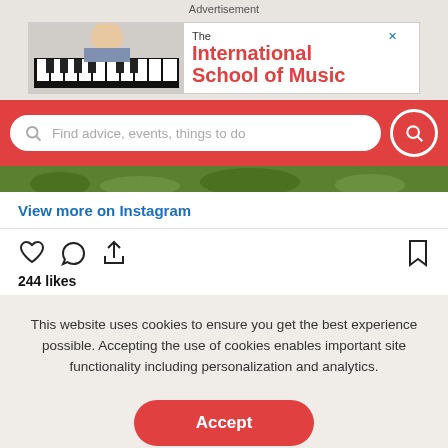Advertisement
[Figure (screenshot): Advertisement banner for The International School of Music showing a girl playing keyboard piano on the left and red bold text on the right]
[Figure (screenshot): Red search bar with placeholder text 'Find advice, events, things to do' and a red search button on the right]
[Figure (photo): Partial photo showing grass/outdoor scene at top of Instagram embed]
View more on Instagram
[Figure (screenshot): Instagram action icons: heart (like), speech bubble (comment), share arrow, and bookmark icon. Shows 244 likes.]
244 likes
This website uses cookies to ensure you get the best experience possible. Accepting the use of cookies enables important site functionality including personalization and analytics.
Accept
Decline